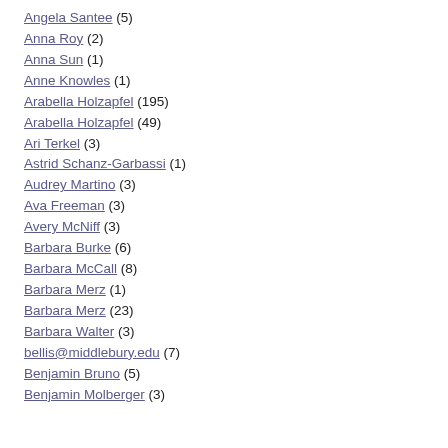Angela Santee (5)
Anna Roy (2)
Anna Sun (1)
Anne Knowles (1)
Arabella Holzapfel (195)
Arabella Holzapfel (49)
Ari Terkel (3)
Astrid Schanz-Garbassi (1)
Audrey Martino (3)
Ava Freeman (3)
Avery McNiff (3)
Barbara Burke (6)
Barbara McCall (8)
Barbara Merz (1)
Barbara Merz (23)
Barbara Walter (3)
bellis@middlebury.edu (7)
Benjamin Bruno (5)
Benjamin Molberger (3)